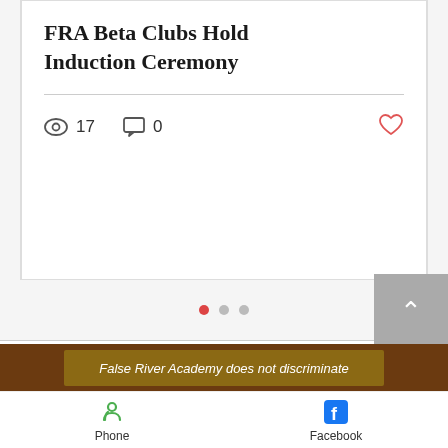FRA Beta Clubs Hold Induction Ceremony
17 views  0 comments  heart icon
[Figure (screenshot): Pagination dots: one filled red dot and two grey dots indicating carousel position]
Comments   Newest
Loading...
False River Academy does not discriminate
Phone   Facebook